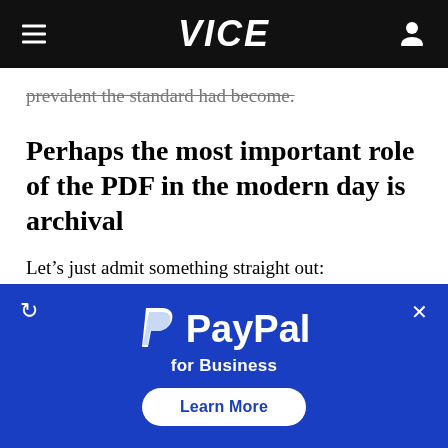VICE
prevalent the standard had become.
Perhaps the most important role of the PDF in the modern day is archival
Let’s just admit something straight out: Standardization is boring.
It’s a dull topic, but it’s something that is
[Figure (screenshot): PayPal for Business advertisement banner with blue background, PayPal logo, tagline 'for Business', and 'Learn More' button]